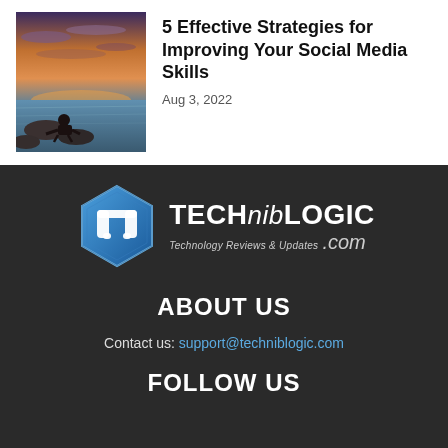[Figure (photo): A person sitting on rocks by the ocean at sunset/dusk with colorful sky]
5 Effective Strategies for Improving Your Social Media Skills
Aug 3, 2022
[Figure (logo): Techniblogic logo - hexagonal icon with T symbol and text TECHNIBLOGIC Technology Reviews & Updates .com]
ABOUT US
Contact us: support@techniblogic.com
FOLLOW US